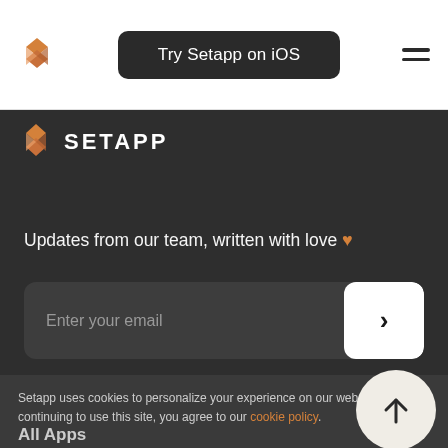[Figure (logo): Setapp diamond/rhombus logo icon in orange in the top navigation bar]
Try Setapp on iOS
[Figure (logo): Hamburger menu icon (two horizontal lines) in top right of nav bar]
[Figure (logo): Setapp diamond logo icon in orange on dark background]
SETAPP
Updates from our team, written with love 🧡
Enter your email
Setapp uses cookies to personalize your experience on our website. By continuing to use this site, you agree to our cookie policy.
All Apps